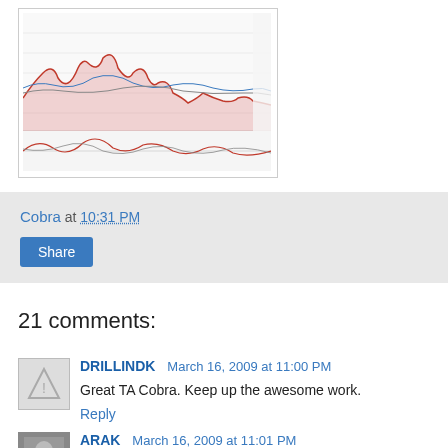[Figure (continuous-plot): Stock market technical analysis chart with multiple overlapping line indicators in red, pink, blue and gray on a white/light grid background. Shows price movements over time with oscillator panels below.]
Cobra at 10:31 PM
Share
21 comments:
DRILLINDK March 16, 2009 at 11:00 PM
Great TA Cobra. Keep up the awesome work.
Reply
ARAK March 16, 2009 at 11:01 PM
If you plot SPX and NYA instead of SPY, you will notice that today's marginal downside had a higher volume than the